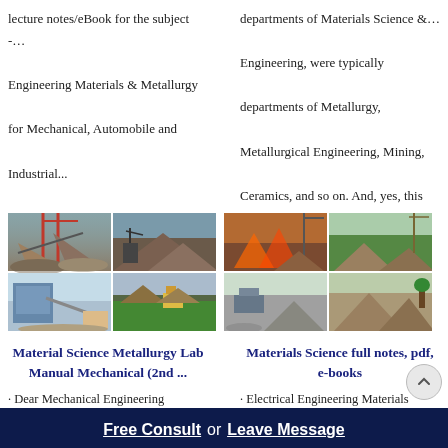lecture notes/eBook for the subject -… Engineering Materials & Metallurgy for Mechanical, Automobile and Industrial...
departments of Materials Science &… Engineering, were typically departments of Metallurgy, Metallurgical Engineering, Mining, Ceramics, and so on. And, yes, this
[Figure (photo): Industrial quarry/mining site collage with heavy machinery, conveyor belts, and material piles - 2x2 grid of photos]
[Figure (photo): Industrial quarry/mining site collage with heavy machinery and material piles - 2x2 grid of photos]
Material Science Metallurgy Lab Manual Mechanical (2nd ...
Materials Science full notes, pdf, e-books
· Dear Mechanical Engineering Students, On this page, I am sharing… very good written classroom lecture notes in eBook PDF format on the
· Electrical Engineering Materials notes or books for the subject…. Materials Science full notes, pdf, e-book. Attached Files for Direct
Free Consult  or  Leave Message